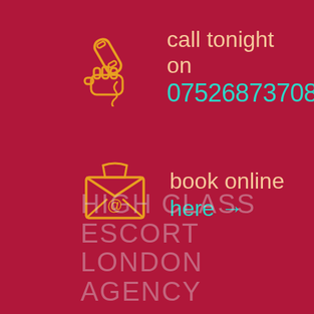[Figure (illustration): Orange outline icon of a hand holding a telephone receiver]
call tonight on 07526873708
[Figure (illustration): Orange outline icon of an open envelope with @ symbol]
book online here →
HIGH CLASS ESCORT LONDON AGENCY